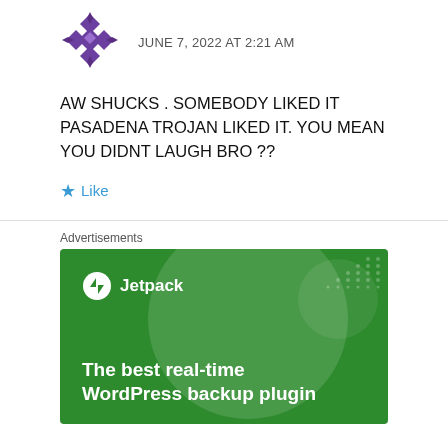[Figure (illustration): Purple diamond-pattern avatar icon with geometric quilt-like design]
JUNE 7, 2022 AT 2:21 AM
AW SHUCKS . SOMEBODY LIKED IT PASADENA TROJAN LIKED IT. YOU MEAN YOU DIDNT LAUGH BRO ??
Like
Advertisements
[Figure (screenshot): Jetpack advertisement banner on green background with text: The best real-time WordPress backup plugin]